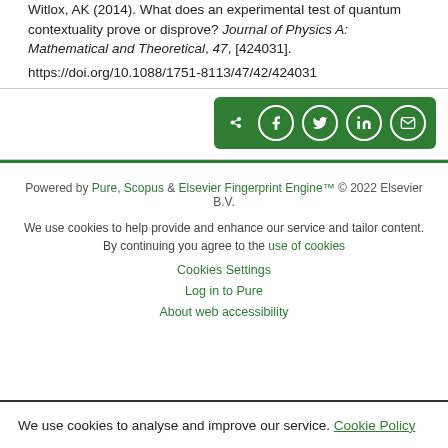Witlox, AK (2014). What does an experimental test of quantum contextuality prove or disprove? Journal of Physics A: Mathematical and Theoretical, 47, [424031]. https://doi.org/10.1088/1751-8113/47/42/424031
[Figure (other): Share buttons row with icons for Share, Facebook, Twitter, LinkedIn, Email on green background]
Powered by Pure, Scopus & Elsevier Fingerprint Engine™ © 2022 Elsevier B.V.
We use cookies to help provide and enhance our service and tailor content. By continuing you agree to the use of cookies
Cookies Settings
Log in to Pure
About web accessibility
We use cookies to analyse and improve our service. Cookie Policy